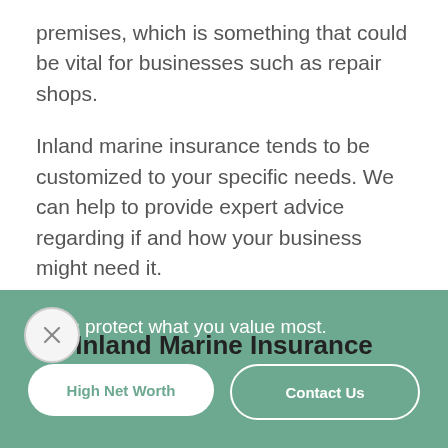premises, which is something that could be vital for businesses such as repair shops.
Inland marine insurance tends to be customized to your specific needs. We can help to provide expert advice regarding if and how your business might need it.
Inland Marine Insurance
Let us protect what you value most.
High Net Worth
Contact Us